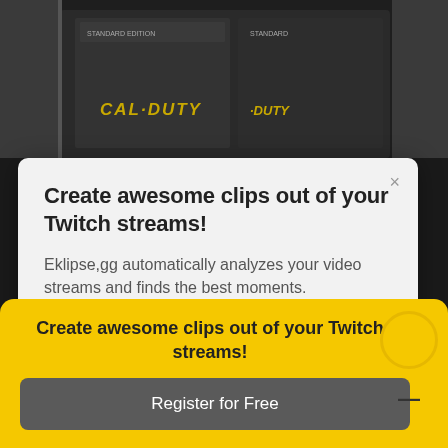[Figure (screenshot): Dark gaming background showing Call of Duty game box art]
Create awesome clips out of your Twitch streams!
Eklipse,gg automatically analyzes your video streams and finds the best moments.
Connect your streaming account and get exciting gaming highlights after every streaming session.
Create awesome clips out of your Twitch streams!
Register for Free